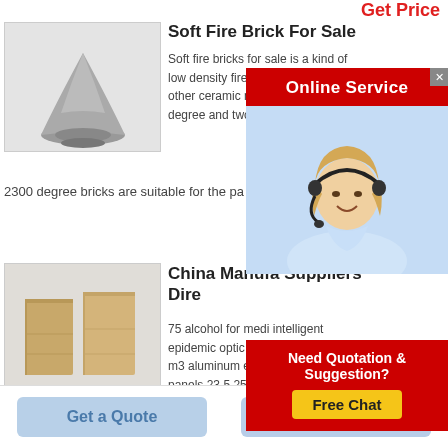Get Price
[Figure (photo): Product photo of gray powder/cone shaped material with Rongsheng brand logo]
Soft Fire Brick For Sale
Soft fire bricks for sale is a kind of low density firebrick made from and other ceramic m three temperature r degree and two gra
[Figure (photo): Online Service popup with a customer service representative wearing headset, red banner saying Online Service]
2300 degree bricks are suitable for the pa grade
[Figure (photo): Product photo of two tan/beige fire bricks with Rongsheng brand logo]
China Manufacturers Suppliers Direct
75 alcohol for medi intelligent epidemic optic splice closure model m3 aluminum expanded metal mesh panels 23 5 25 wear resistant king protection chain disposable oxygen mask
[Figure (infographic): Need Quotation & Suggestion? Free Chat button popup in red with yellow button]
Get a Quote
Chat Now